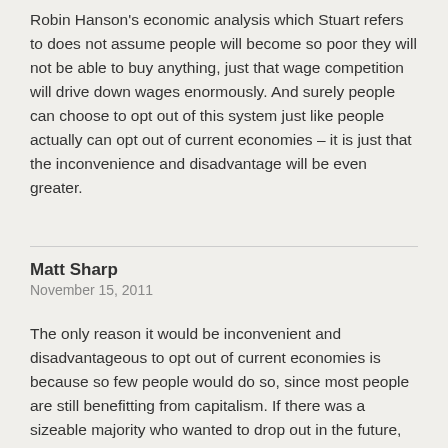Robin Hanson's economic analysis which Stuart refers to does not assume people will become so poor they will not be able to buy anything, just that wage competition will drive down wages enormously. And surely people can choose to opt out of this system just like people actually can opt out of current economies – it is just that the inconvenience and disadvantage will be even greater.
Matt Sharp
November 15, 2011
The only reason it would be inconvenient and disadvantageous to opt out of current economies is because so few people would do so, since most people are still benefitting from capitalism. If there was a sizeable majority who wanted to drop out in the future, doing so could easily be beneficial compared to staying in. If it was a *clear* benefit to drop out, then many